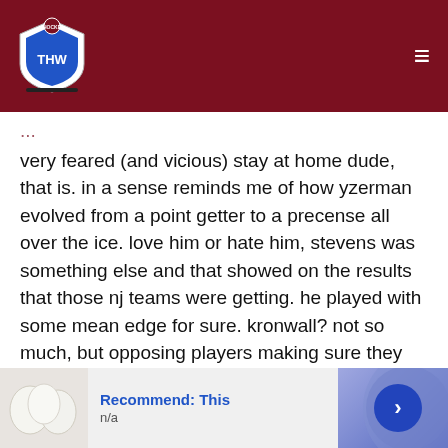THW
very feared (and vicious) stay at home dude, that is. in a sense reminds me of how yzerman evolved from a point getter to a precense all over the ice. love him or hate him, stevens was something else and that showed on the results that those nj teams were getting. he played with some mean edge for sure. kronwall? not so much, but opposing players making sure they know where he is whenever they're crossing the blue line for sure doesn't make him a less efficient  defenceman.
do the players actually find kronwall  a dirty player? i honestly don't know, but somehow i doubt it.
[Figure (other): Advertisement banner: Recommend: This, n/a, with image and arrow button]